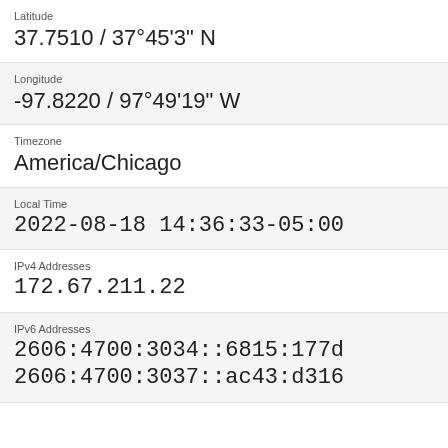Latitude
37.7510 / 37°45'3" N
Longitude
-97.8220 / 97°49'19" W
Timezone
America/Chicago
Local Time
2022-08-18 14:36:33-05:00
IPv4 Addresses
172.67.211.22
IPv6 Addresses
2606:4700:3034::6815:177d
2606:4700:3037::ac43:d316